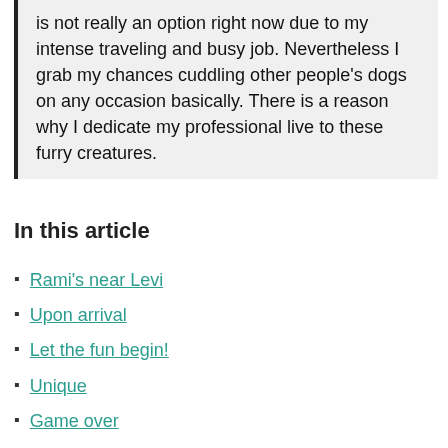great to combine both. Having a dog of my own is not really an option right now due to my intense traveling and busy job. Nevertheless I grab my chances cuddling other people's dogs on any occasion basically. There is a reason why I dedicate my professional live to these furry creatures.
In this article
Rami's near Levi
Upon arrival
Let the fun begin!
Unique
Game over
Some practicalities